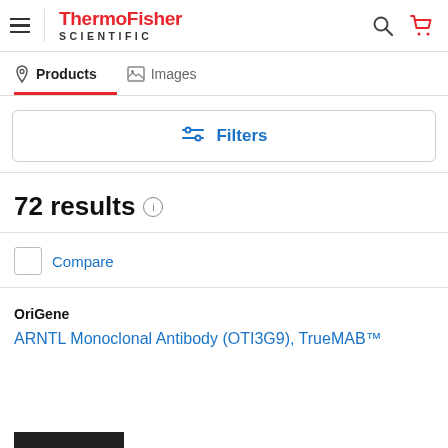[Figure (logo): ThermoFisher Scientific logo with hamburger menu, search and cart icons]
Products   Images
[Figure (other): Filters button with sliders icon]
72 results
Compare
OriGene
ARNTL Monoclonal Antibody (OTI3G9), TrueMAB™